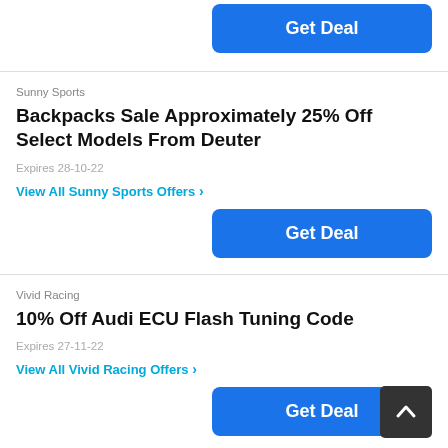[Figure (other): Get Deal button (blue rounded rectangle) at top of page, partially visible]
Sunny Sports
Backpacks Sale Approximately 25% Off Select Models From Deuter
Expires 28-10-22
View All Sunny Sports Offers >
[Figure (other): Get Deal button (blue rounded rectangle)]
Vivid Racing
10% Off Audi ECU Flash Tuning Code
Expires 27-11-22
View All Vivid Racing Offers >
[Figure (other): Get Deal button (blue rounded rectangle) at bottom]
[Figure (other): Back to top button (dark rounded square with upward chevron)]